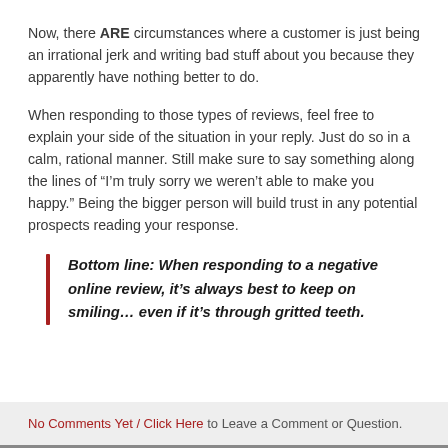Now, there ARE circumstances where a customer is just being an irrational jerk and writing bad stuff about you because they apparently have nothing better to do.
When responding to those types of reviews, feel free to explain your side of the situation in your reply. Just do so in a calm, rational manner. Still make sure to say something along the lines of “I’m truly sorry we weren’t able to make you happy.” Being the bigger person will build trust in any potential prospects reading your response.
Bottom line: When responding to a negative online review, it’s always best to keep on smiling… even if it’s through gritted teeth.
No Comments Yet / Click Here to Leave a Comment or Question.